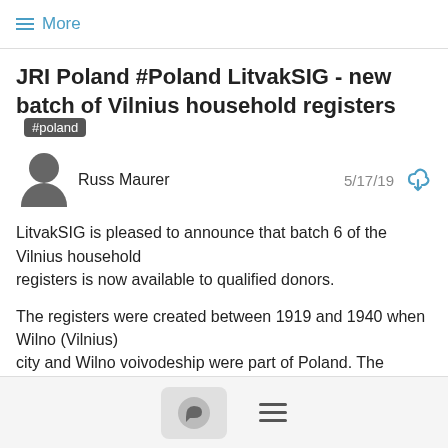≡ More
JRI Poland #Poland LitvakSIG - new batch of Vilnius household registers #poland
Russ Maurer   5/17/19
LitvakSIG is pleased to announce that batch 6 of the Vilnius household
registers is now available to qualified donors.

The registers were created between 1919 and 1940 when Wilno (Vilnius)
city and Wilno voivodeship were part of Poland. The registers contain
detailed information about everyone who lived in Wilno at that time,